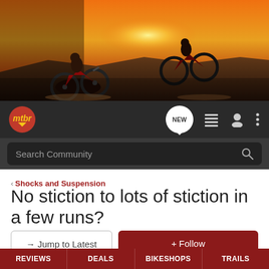[Figure (photo): Hero banner showing two mountain bikers riding downhill at sunset with warm orange/red tones]
[Figure (logo): mtbr logo - red circle with gold italic text 'mtbr' and downward arrow]
NEW (chat bubble icon), list icon, user icon, menu icon
Search Community
< Shocks and Suspension
No stiction to lots of stiction in a few runs?
→ Jump to Latest
+ Follow
REVIEWS    DEALS    BIKESHOPS    TRAILS